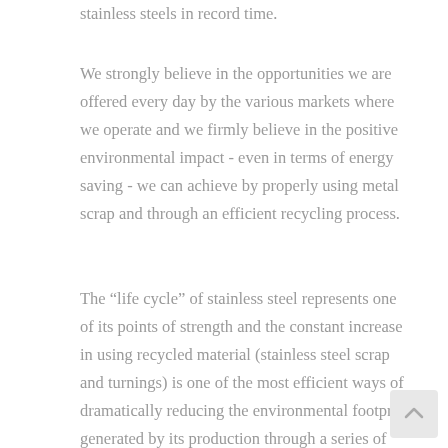stainless steels in record time.
We strongly believe in the opportunities we are offered every day by the various markets where we operate and we firmly believe in the positive environmental impact - even in terms of energy saving - we can achieve by properly using metal scrap and through an efficient recycling process.
The “life cycle” of stainless steel represents one of its points of strength and the constant increase in using recycled material (stainless steel scrap and turnings) is one of the most efficient ways of dramatically reducing the environmental footprint generated by its production through a series of advantages